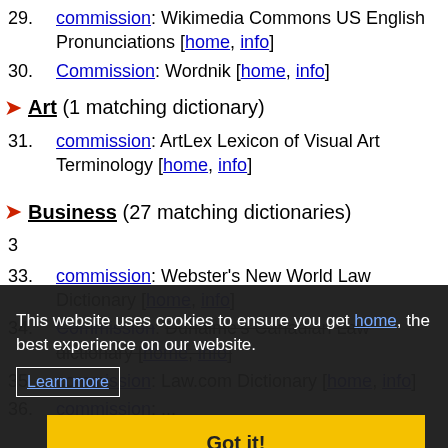29. commission: Wikimedia Commons US English Pronunciations [home, info]
30. Commission: Wordnik [home, info]
Art (1 matching dictionary)
31. commission: ArtLex Lexicon of Visual Art Terminology [home, info]
Business (27 matching dictionaries)
32. commission: [home, info]
33. commission: Webster's New World Law Dictionary [home, info]
34. Commission: Duhaime's Canadian Law dictionary [home, info]
35. commission: Law.com Dictionary [home, info]
36. commission: ...
Cookie notice: This website uses cookies to ensure you get the best experience on our website. Learn more. Got it!